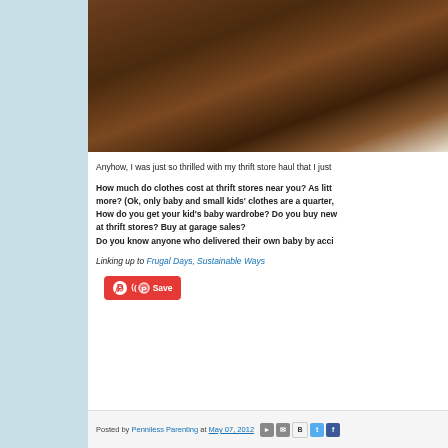[Figure (photo): Photo of wooden furniture/baby item with white fabric, dark brown wood tones, taken at a thrift store or home setting]
Anyhow, I was just so thrilled with my thrift store haul that I just
How much do clothes cost at thrift stores near you? As litt more? (Ok, only baby and small kids' clothes are a quarter, How do you get your kid's baby wardrobe? Do you buy new at thrift stores? Buy at garage sales?
Do you know anyone who delivered their own baby by acci
Linking up to Frugal Days, Sustainable Ways
[Figure (other): Pinterest Save button - red rounded rectangle with Pinterest logo and 'Save' text]
Posted by Penniless Parenting at May 07, 2012